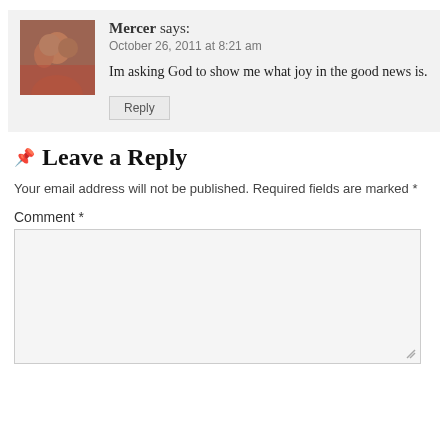[Figure (photo): Profile photo of two people smiling]
Mercer says:
October 26, 2011 at 8:21 am
Im asking God to show me what joy in the good news is.
Reply
Leave a Reply
Your email address will not be published. Required fields are marked *
Comment *